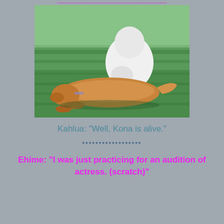▪▪▪▪▪▪▪▪▪▪▪▪▪▪▪▪▪▪▪▪▪▪▪▪▪▪▪▪▪▪▪▪▪▪▪▪▪▪▪▪▪▪▪▪▪▪▪▪▪▪▪▪▪▪
[Figure (photo): Two dogs on green grass — a white dog standing and sniffing a golden-colored dog lying on its side on the grass in sunlight.]
Kahlua: "Well, Kona is alive."
▪▪▪▪▪▪▪▪▪▪▪▪▪▪▪▪▪▪
Ehime: "I was just practicing for an audition of actress. (scratch)"